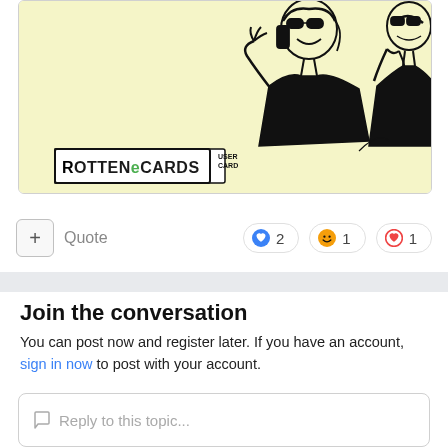[Figure (illustration): RottenEcards user card with yellow background showing a retro-style illustration of a woman wearing sunglasses talking on the phone, with RottenEcards USER CARD logo in lower left corner]
+ Quote   ❤ 2   😄 1   ♥ 1
Join the conversation
You can post now and register later. If you have an account, sign in now to post with your account.
Reply to this topic...